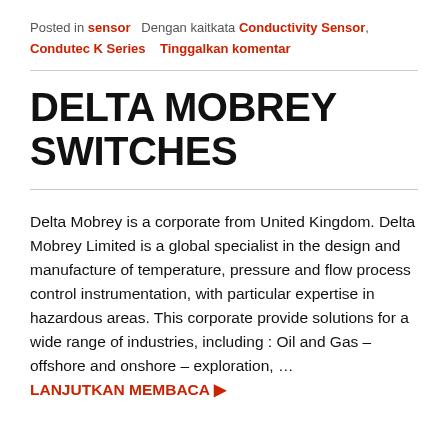Posted in sensor   Dengan kaitkata Conductivity Sensor, Condutec K Series   Tinggalkan komentar
DELTA MOBREY SWITCHES
Delta Mobrey is a corporate from United Kingdom. Delta Mobrey Limited is a global specialist in the design and manufacture of temperature, pressure and flow process control instrumentation, with particular expertise in hazardous areas. This corporate provide solutions for a wide range of industries, including : Oil and Gas – offshore and onshore – exploration, … LANJUTKAN MEMBACA ▶